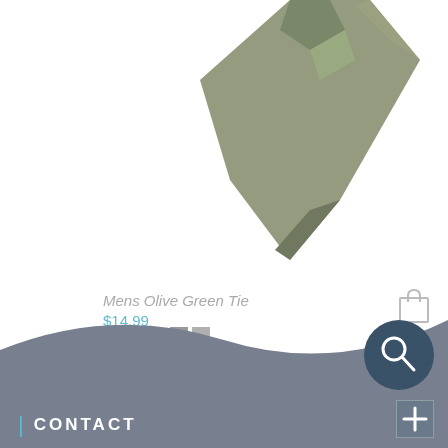[Figure (photo): Photo of a mens olive green necktie, angled diagonally on white background]
Mens Olive Green Tie
$14.99
[Figure (other): Color swatch grid showing various shades of gray/dark swatches in a 3x3 pattern]
[Figure (other): Gray footer section with wave shape cutout, contact label with pipe separator, search circle icon, and plus button]
CONTACT